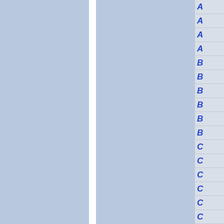[Figure (other): Two blue rectangular panels side by side separated by a white vertical divider, forming a two-column layout on the left portion of the page.]
A
A
A
A
B
B
B
B
B
B
C
C
C
C
C
C